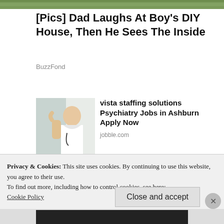[Figure (photo): Green nature/garden top banner strip]
[Pics] Dad Laughs At Boy's DIY House, Then He Sees The Inside
BuzzFond
[Figure (photo): Woman in white lab coat with stethoscope giving a high-five]
vista staffing solutions Psychiatry Jobs in Ashburn Apply Now
jobble.com
[Figure (photo): Group photo of Obama family smiling outdoors]
[Pics] Obama Turns 60 And This Is The House He Lives In
Privacy & Cookies: This site uses cookies. By continuing to use this website, you agree to their use.
To find out more, including how to control cookies, see here:
Cookie Policy
Close and accept